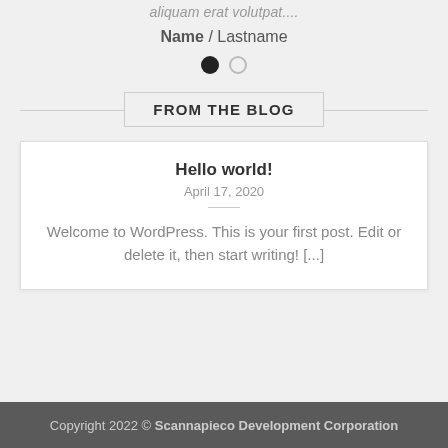aliquam erat volutpat....
Name / Lastname
[Figure (other): Two pagination dots: one filled black, one empty gray circle]
FROM THE BLOG
Hello world!
April 17, 2020
Welcome to WordPress. This is your first post. Edit or delete it, then start writing! [...]
Copyright 2022 © Scannapieco Development Corporation